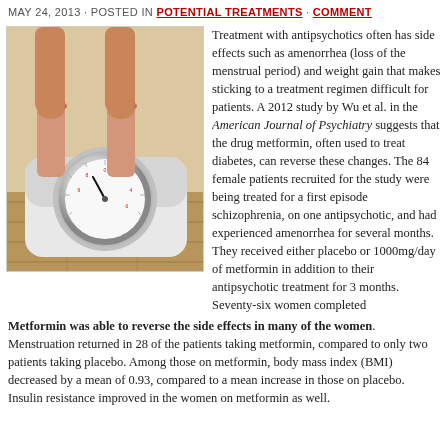MAY 24, 2013 · POSTED IN POTENTIAL TREATMENTS · COMMENT
[Figure (photo): Person's bare feet standing on a white bathroom weight scale, showing the circular dial face with numbers, warm wood floor background]
Treatment with antipsychotics often has side effects such as amenorrhea (loss of the menstrual period) and weight gain that makes sticking to a treatment regimen difficult for patients. A 2012 study by Wu et al. in the American Journal of Psychiatry suggests that the drug metformin, often used to treat diabetes, can reverse these changes. The 84 female patients recruited for the study were being treated for a first episode schizophrenia, on one antipsychotic, and had experienced amenorrhea for several months. They received either placebo or 1000mg/day of metformin in addition to their antipsychotic treatment for 3 months. Seventy-six women completed the study.
Metformin was able to reverse the side effects in many of the women. Menstruation returned in 28 of the patients taking metformin, compared to only two patients taking placebo. Among those on metformin, body mass index (BMI) decreased by a mean of 0.93, compared to a mean increase in those on placebo. Insulin resistance improved in the women on metformin as well.